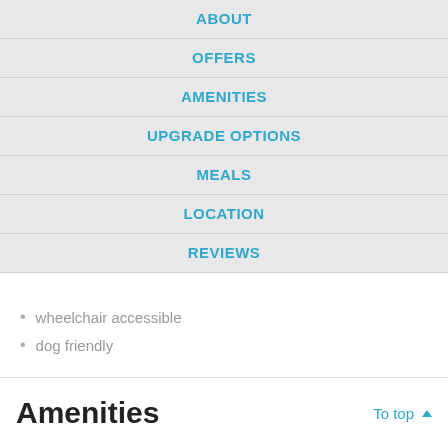ABOUT
OFFERS
AMENITIES
UPGRADE OPTIONS
MEALS
LOCATION
REVIEWS
wheelchair accessible
dog friendly
Amenities
To top ▲